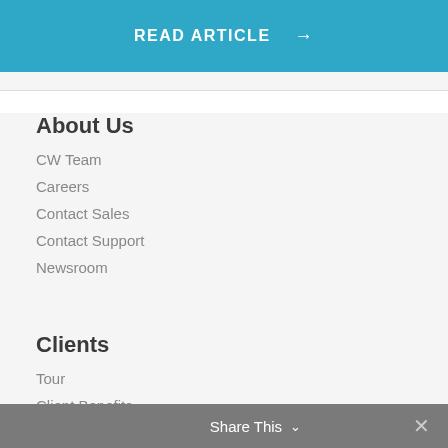[Figure (other): Blue button with text READ ARTICLE and right arrow]
About Us
CW Team
Careers
Contact Sales
Contact Support
Newsroom
Clients
Tour
Client Benefits
Client Signup
Client FAQ
Share This ∨  ✕